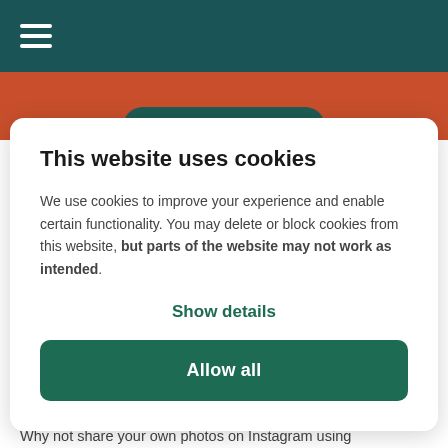☰ (hamburger menu icon)
Community Champions
This website uses cookies
We use cookies to improve your experience and enable certain functionality. You may delete or block cookies from this website, but parts of the website may not work as intended.
Show details
Allow all
Showcase your style
Why not share your own photos on Instagram using #lovemypersimmonhome for a chance to win a £100 Next voucher. Visit our Facebook page for terms and